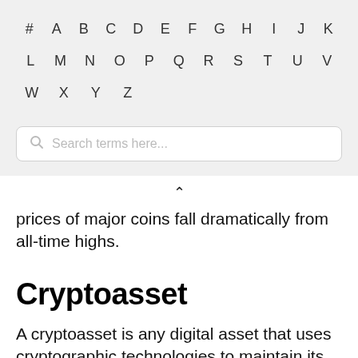# A B C D E F G H I J K L M N O P Q R S T U V W X Y Z
[Figure (screenshot): Search bar with placeholder text 'Search terms here...' and a magnifying glass icon]
prices of major coins fall dramatically from all-time highs.
Cryptoasset
A cryptoasset is any digital asset that uses cryptographic technologies to maintain its operation